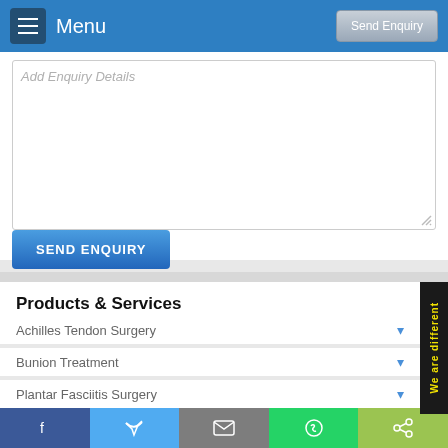Menu | Send Enquiry
[Figure (screenshot): Text area input field with placeholder 'Add Enquiry Details']
SEND ENQUIRY
Products & Services
Achilles Tendon Surgery
Bunion Treatment
Plantar Fasciitis Surgery
[Figure (screenshot): Side badge reading 'We are different' in yellow text on black background]
Social share bar: Facebook, Twitter, Email, WhatsApp, Share